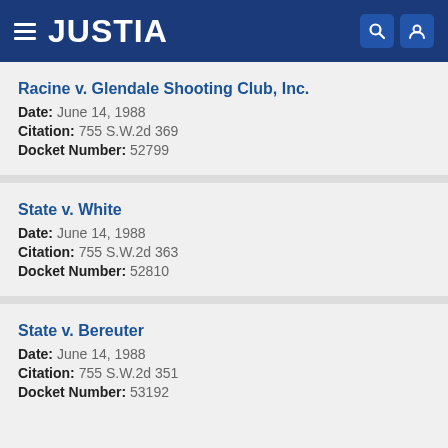JUSTIA
Racine v. Glendale Shooting Club, Inc.
Date: June 14, 1988
Citation: 755 S.W.2d 369
Docket Number: 52799
State v. White
Date: June 14, 1988
Citation: 755 S.W.2d 363
Docket Number: 52810
State v. Bereuter
Date: June 14, 1988
Citation: 755 S.W.2d 351
Docket Number: 53192